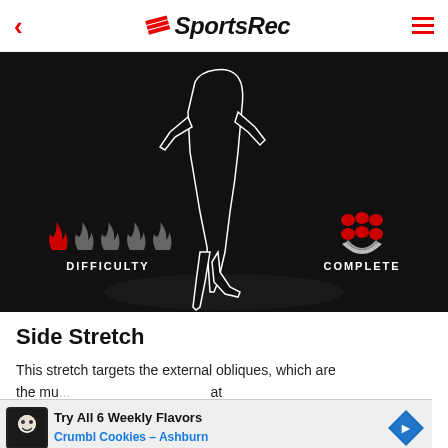SportsRec
[Figure (illustration): Dark background exercise image showing a silhouette of a person doing a side stretch. Bottom left shows difficulty rating (1 red flame out of 5 grey flames) with text DIFFICULTY. Bottom right shows a red muscle/abs icon with text COMPLETE.]
Side Stretch
This stretch targets the external obliques, which are the mu... at insert... your